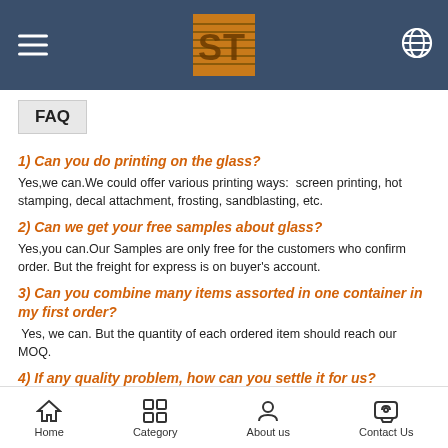SF logo, hamburger menu, globe icon
FAQ
1) Can you do printing on the glass?
Yes,we can.We could offer various printing ways:  screen printing, hot stamping, decal attachment, frosting, sandblasting, etc.
2) Can we get your free samples about glass?
Yes,you can.Our Samples are only free for the customers who confirm order. But the freight for express is on buyer's account.
3) Can you combine many items assorted in one container in my first order?
Yes, we can. But the quantity of each ordered item should reach our MOQ.
4) If any quality problem, how can you settle it for us?
When discharging the container, you need to inspect all the cargo. If any breakage or defect products were founded, you must  take the pictures
Home  Category  About us  Contact Us